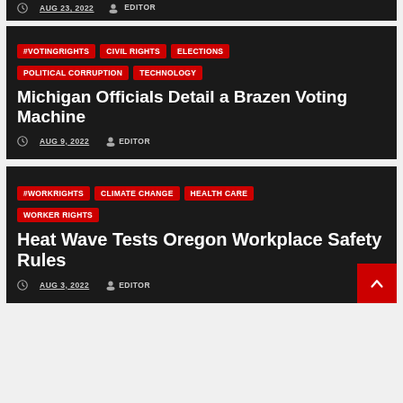AUG 23, 2022  EDITOR
#VOTINGRIGHTS | CIVIL RIGHTS | ELECTIONS | POLITICAL CORRUPTION | TECHNOLOGY
Michigan Officials Detail a Brazen Voting Machine
AUG 9, 2022  EDITOR
#WORKRIGHTS | CLIMATE CHANGE | HEALTH CARE | WORKER RIGHTS
Heat Wave Tests Oregon Workplace Safety Rules
AUG 3, 2022  EDITOR